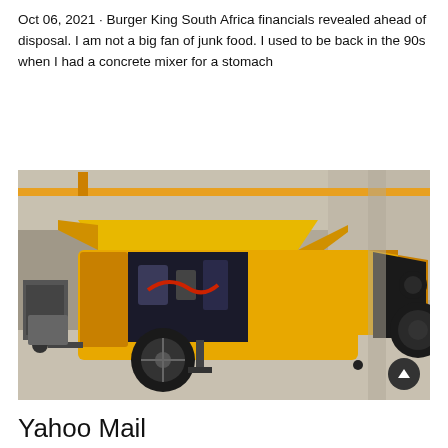Oct 06, 2021 · Burger King South Africa financials revealed ahead of disposal. I am not a big fan of junk food. I used to be back in the 90s when I had a concrete mixer for a stomach
Learn More
[Figure (photo): A yellow concrete pump machine (trailer-mounted) parked inside an industrial warehouse or factory. The machine has an open yellow canopy hood revealing engine components, large black wheels, and a hopper at the rear. The background shows concrete pillars and walls.]
Yahoo Mail